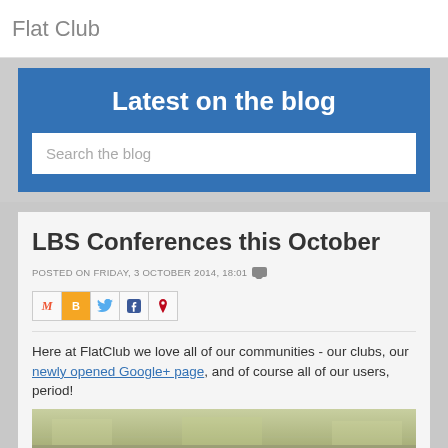Flat Club
Latest on the blog
Search the blog
LBS Conferences this October
POSTED ON FRIDAY, 3 OCTOBER 2014, 18:01
[Figure (other): Social sharing icons row: Gmail (M), Blogger (B), Twitter bird, Facebook (f), Pinterest (P)]
Here at FlatClub we love all of our communities - our clubs, our newly opened Google+ page, and of course all of our users, period!
[Figure (photo): Partial photo strip at bottom, appears to show an indoor venue with green/yellow tinted lighting]